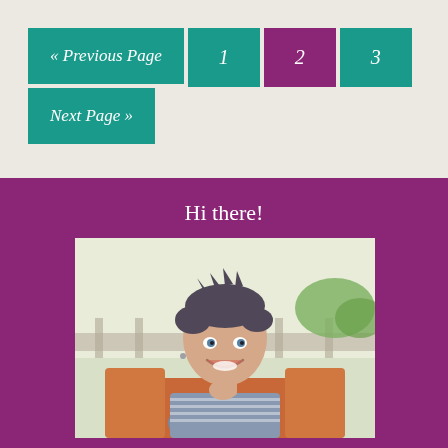« Previous Page
1
2
3
Next Page »
Hi there!
[Figure (photo): A smiling woman with short dark hair sitting outdoors on a terrace, wearing a striped top, with greenery in the background]